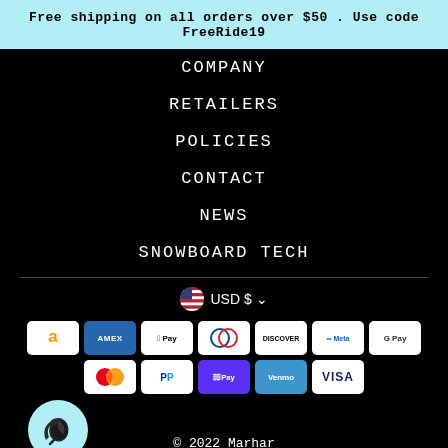Free shipping on all orders over $50 . Use code FreeRide19
COMPANY
RETAILERS
POLICIES
CONTACT
NEWS
SNOWBOARD TECH
USD $
[Figure (other): Payment method icons: Amazon Pay, American Express, Apple Pay, Diners Club, Discover, Meta Pay, Google Pay, Mastercard, PayPal, Shop Pay, Venmo, Visa]
[Figure (logo): Marhar brand logo - feather quill in a teal circle]
© 2022 Marhar
Powered by Shopify